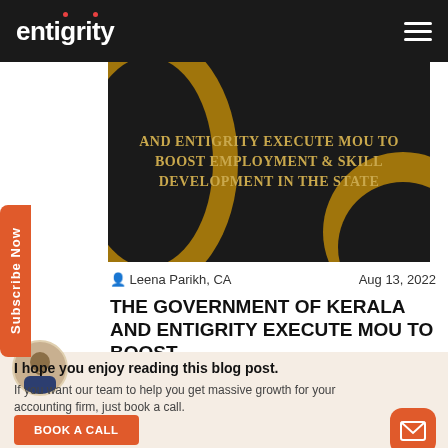entigrity
[Figure (photo): Dark background banner with gold text reading: AND ENTIGRITY EXECUTE MOU TO BOOST EMPLOYMENT & SKILL DEVELOPMENT IN THE STATE]
Leena Parikh, CA    Aug 13, 2022
THE GOVERNMENT OF KERALA AND ENTIGRITY EXECUTE MOU TO BOOST
I hope you enjoy reading this blog post.
If you want our team to help you get massive growth for your accounting firm, just book a call.
BOOK A CALL